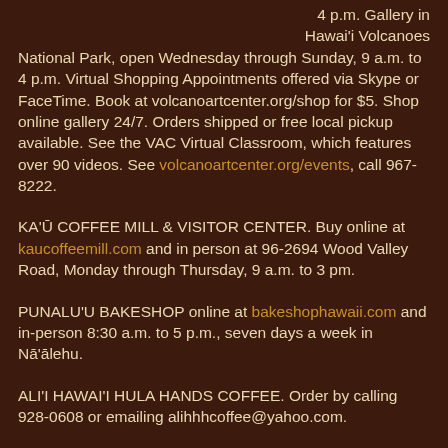4 p.m. Gallery in Hawai'i Volcanoes National Park, open Wednesday through Sunday, 9 a.m. to 4 p.m. Virtual Shopping Appointments offered via Skype or FaceTime. Book at volcanoartcenter.org/shop for $5. Shop online gallery 24/7. Orders shipped or free local pickup available. See the VAC Virtual Classroom, which features over 90 videos. See volcanoartcenter.org/events, call 967-8222.
KA'Ū COFFEE MILL & VISITOR CENTER. Buy online at kaucoffeemill.com and in person at 96-2694 Wood Valley Road, Monday through Thursday, 9 a.m. to 3 pm.
PUNALU'U BAKESHOP online at bakeshophawaii.com and in-person 8:30 a.m. to 5 p.m., seven days a week in Nā'ālehu.
ALI'I HAWAI'I HULA HANDS COFFEE. Order by calling 928-0608 or emailing alihhhcoffee@yahoo.com.
AIKANE PLANTATION COFFEE COMPANY. Order online